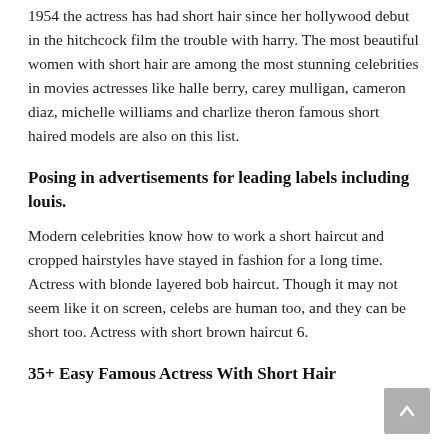1954 the actress has had short hair since her hollywood debut in the hitchcock film the trouble with harry. The most beautiful women with short hair are among the most stunning celebrities in movies actresses like halle berry, carey mulligan, cameron diaz, michelle williams and charlize theron famous short haired models are also on this list.
Posing in advertisements for leading labels including louis.
Modern celebrities know how to work a short haircut and cropped hairstyles have stayed in fashion for a long time. Actress with blonde layered bob haircut. Though it may not seem like it on screen, celebs are human too, and they can be short too. Actress with short brown haircut 6.
35+ Easy Famous Actress With Short Hair